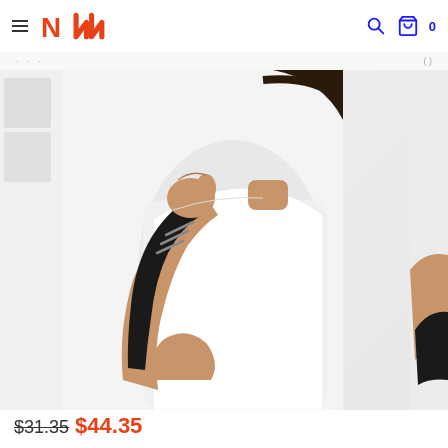N logo navigation header with search and cart (0 items)
[Figure (photo): Woman wearing a black compression wrist and forearm sleeve/brace, shown against a white background. Partial view of a second product image on the right edge.]
$31.35 $44.35